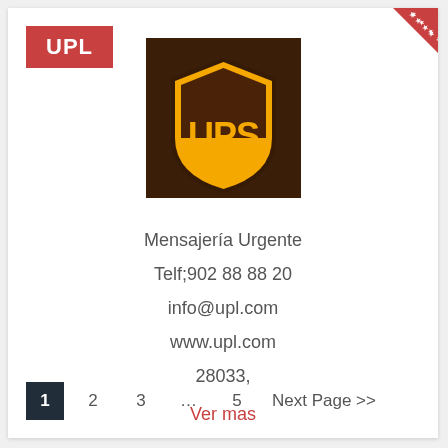UPL
[Figure (logo): UPS logo on dark brown background showing the UPS shield with yellow lettering]
Mensajería Urgente
Telf;902 88 88 20
info@upl.com
www.upl.com
28033,
Ver mas
1  2  3  ...  5  Next Page >>